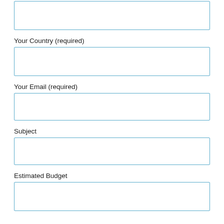Your Name (required)
Your Country (required)
Your Email (required)
Subject
Estimated Budget